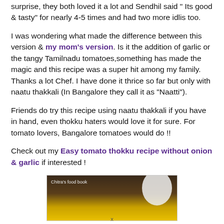surprise, they both loved it a lot and Sendhil said “ Its good & tasty” for nearly 4-5 times and had two more idlis too.
I was wondering what made the difference between this version & my mom’s version. Is it the addition of garlic or the tangy Tamilnadu tomatoes,something has made the magic and this recipe was a super hit among my family. Thanks a lot Chef. I have done it thrice so far but only with naatu thakkali (In Bangalore they call it as “Naatti”).
Friends do try this recipe using naatu thakkali if you have in hand, even thokku haters would love it for sure. For tomato lovers, Bangalore tomatoes would do !!
Check out my Easy tomato thokku recipe without onion & garlic if interested !
[Figure (photo): Partial view of a food photo with Chitra's food book watermark, showing a dark wooden background and a yellow/golden plate edge at the bottom, with a white bowl partially visible on the right.]